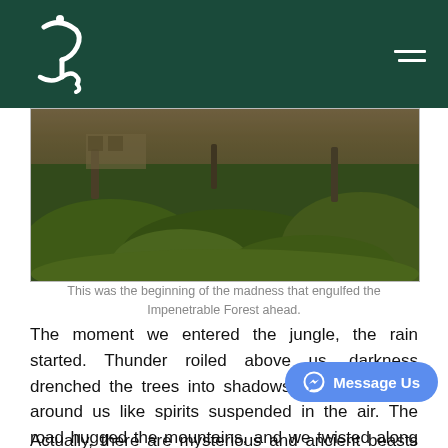[Logo and navigation header]
[Figure (photo): A lush green jungle/forest scene with dense vegetation, grass, and trees. Shows the beginning of the Bwindi Impenetrable Forest with dark green foliage and misty atmosphere.]
This was the beginning of the madness that engulfed the Impenetrable Forest ahead.
The moment we entered the jungle, the rain started. Thunder roiled above us, darkness drenched the trees into shadows, and mist hung around us like spirits suspended in the air. The road hugged the mountains, and we twisted along it as we dodged puddles, rocks, and ravines of rushing water. It felt terrifying, and magical.
Actually, there are mysterious and ancient beasts that